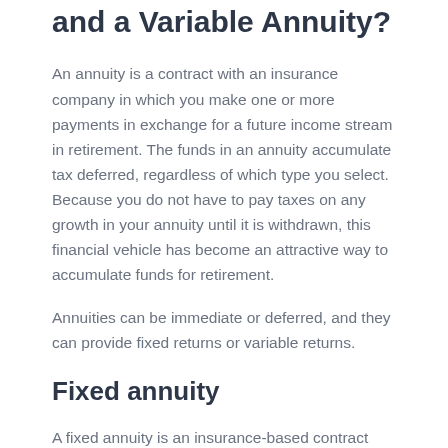Between a Fixed Annuity and a Variable Annuity?
An annuity is a contract with an insurance company in which you make one or more payments in exchange for a future income stream in retirement. The funds in an annuity accumulate tax deferred, regardless of which type you select. Because you do not have to pay taxes on any growth in your annuity until it is withdrawn, this financial vehicle has become an attractive way to accumulate funds for retirement.
Annuities can be immediate or deferred, and they can provide fixed returns or variable returns.
Fixed annuity
A fixed annuity is an insurance-based contract that can be funded either with a lump sum or regular payments over time. In exchange, the insurance